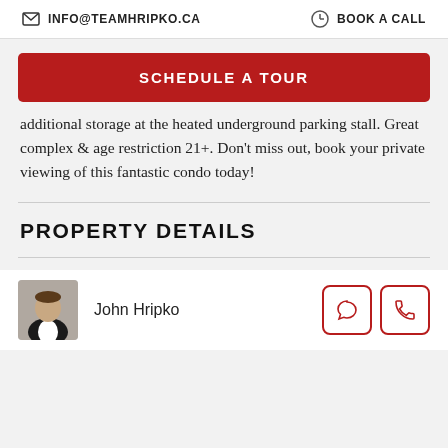INFO@TEAMHRIPKO.CA   BOOK A CALL
SCHEDULE A TOUR
additional storage at the heated underground parking stall. Great complex & age restriction 21+. Don't miss out, book your private viewing of this fantastic condo today!
PROPERTY DETAILS
John Hripko